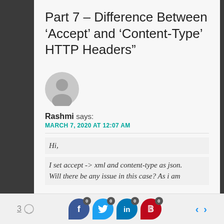Part 7 – Difference Between 'Accept' and 'Content-Type' HTTP Headers"
[Figure (illustration): Gray default avatar/user icon circle]
Rashmi says:
MARCH 7, 2020 AT 12:07 AM
Hi,
I set accept -> xml and content-type as json. Will there be any issue in this case? As i am
3  [comment icon]  [Facebook 0]  [Twitter 0]  [LinkedIn 0]  [Pinterest 0]  < >